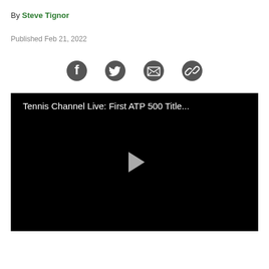By Steve Tignor
Published Feb 21, 2022
[Figure (other): Social sharing icons: Facebook, Twitter, Email, Link]
[Figure (screenshot): Video player with black background showing title 'Tennis Channel Live: First ATP 500 Title...' and a play button in the center]